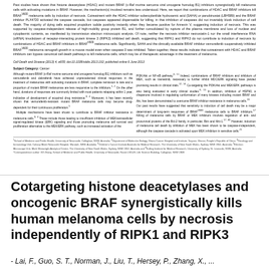Past studies have shown that histone deacetylase (HDAC) and mutant BRAF (v-Raf murine sarcoma viral oncogene homolog B1) inhibitors synergistically kill melanoma cells with activating mutations in BRAF. However, the mechanism(s) involved remains less understood. Here, we report that combinations of HDAC and BRAF inhibitors kill BRAFV600 melanoma cells by induction of necrosis. Cotreatment with the HDAC inhibitor suberoylanilide hydroxamic acid (SAHA) or panobinostat (LBH589) and the BRAF inhibitor PLX4720 activated the caspase cascade, but caspases appeared dispensable for killing, in that inhibition of caspases did not invariably block induction of cell death. The majority of dying cells acquired propidium iodide positivity instantly when they became positive for Annexin V, suggesting induction of necrosis. This was supported by caspase-independent release of high-mobility group protein B1, and further consolidated by rupture of the plasma membrane and loss of nuclear and cytoplasmic contents, as manifested by transmission electron microscopic analysis. Of note, neither the necrosis inhibitor necrostatin-1 nor the small interference RNA (siRNA) knockdown of receptor-interacting protein kinase 3 (RIPK3) inhibited cell death, suggesting that RIPK1 and RIPK3 do not contribute to induction of necrosis by combinations of HDAC and BRAF inhibitors in BRAFV600 melanoma cells. Significantly, SAHA and the clinically available BRAF inhibitor vemurafenib cooperatively inhibited BRAFV600 melanoma xenograft growth in a mouse model even when caspase-3 was inhibited. Taken together, these results indicate that cotreatment with HDAC and BRAF inhibitors can bypass canonical cell death pathways to kill melanoma cells, which may be of therapeutic advantage in the treatment of melanoma.
Cell Death and Disease (2013) 4, e655; doi:10.1038/cddis.2013.192; published online 6 June 2013
Subject Category: Cancer
Although mutant BRAF (v-Raf murine sarcoma viral oncogene homolog B1) inhibitors such as vemurafenib and dabrafenib have achieved unprecedented clinical responses in the treatment of melanomas with activating mutations in BRAF, complete remission is rare and a proportion of mutant BRAF melanomas are less responsive to the inhibitors. On the other hand, durations of responses are commonly limited with most patients relapsing within 1 year, indicative of development of acquired drug resistance. Moreover, it has been recently shown that vemurafenib-resistant mutant BRAF melanoma cells may become drug-dependent for their continuous proliferation.
  Multiple mechanisms have been shown to contribute to BRAF inhibitor resistance in melanoma cells. These include those leading to insufficient inhibition of MEK/extracellular signal-regulated kinase (ERK) signaling and those promoting melanoma cell survival and proliferation alternative to the MEK/ERK pathway, such as increased activation of the
PI3K/Akt or NF-κB pathway. Indeed, combinations of BRAF inhibitors and inhibitors of MEK, such as trametinib, necessary to further inhibit MDC/ERK signaling have yielded promising results in clinical trials. Co-targeting the PI3K/Akt and MEK/ERK pathways is also being evaluated in early clinical studies. In addition, inhibition of HSP90, a chaperone involved in regulating conformation of many kinases including mutant BRAF and Akt, has been demonstrated to overcome BRAF inhibitor resistance in melanoma cells.
  Our past results have suggested that sensitivity to induction of cell death may be a major determinant of long-term responses of BRAFV600 melanoma cells to BRAF inhibitors. Killing of melanoma cells by BRAF or MEK inhibitors involves regulation of anti- and prosurvival proteins of the Bcl-2 family, in particular, Bim and Mcl-1. However, induction of melanoma cell death by inhibition of MEK has been shown to be caspase-independent, although the caspase cascade is activated upon MEK inhibition in sensitive cells.
School of Medicine and Public Health, University of Newcastle, Callaghan, NSW, Australia; Department of Molecular Biology, Shana Cancer Hospital and Institute, Taiyuan, Shanxi, People's Republic of China; Oncology and Immunology Unit, Calvary Mater Newcastle Hospital, Waratah, NSW, Australia; Children's Cancer Institute Australia for Medical Research, The University of New South Wales, Sydney, NSW 2052, Australia; Electron Microscope Unit, Mark Wainwright Analytical Centre, The University of New South Wales, Sydney, NSW 2052, Australia and Kolling Institute for Medical Research, University of Sydney, St. Leonards, NSW, Australia. Correspondence author: XD Zhang, School of Medicine and Public Health, University of Newcastle, Room LSD-09, Life Science Building, Callaghan, NSW 2308
Cotargeting histone deacetylases and oncogenic BRAF synergistically kills human melanoma cells by necrosis independently of RIPK1 and RIPK3
- Lai, F., Guo, S. T., Norman, J., Liu, T., Hersey, P., Zhang, X., ...